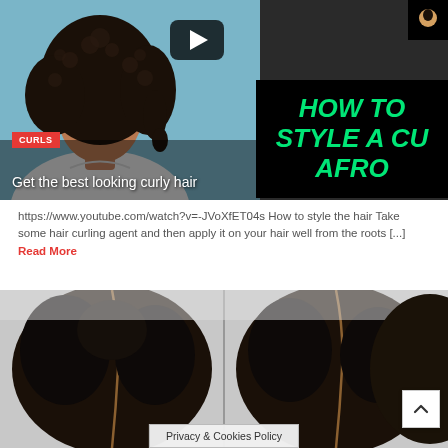[Figure (screenshot): Video thumbnail showing a woman with curly hair on the left side, a play button overlay, and on the right side a black panel with green bold italic text reading 'HOW TO STYLE A CURLY AFRO'. A red 'CURLS' badge and white title 'Get the best looking curly hair' are overlaid at the bottom.]
https://www.youtube.com/watch?v=-JVoXfET04s How to style the hair Take some hair curling agent and then apply it on your hair well from the roots [...] Read More
[Figure (photo): Photo showing the back/top of a person's head with dark natural hair styled in sections, viewed from behind.]
Privacy & Cookies Policy